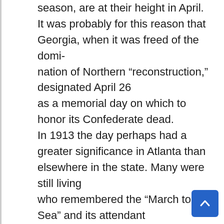trusted, always in production during the long spring season, are at their height in April. It was probably for this reason that Georgia, when it was freed of the domi-nation of Northern “reonstruction,” designated April 26 as a memorial day on which to honor its Confederate dead. In 1913 the day perhaps had a greater significance in Atlanta than elsewhere in the state. Many were still living who remembered the “March to the Sea” and its attendant death and destruction. Memorial Day in Atlanta was as much a reminder of that “unforgivable infamy” as it